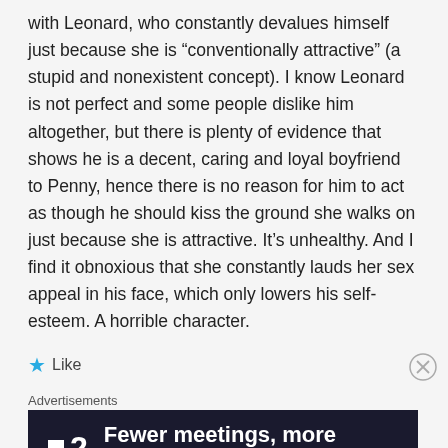with Leonard, who constantly devalues himself just because she is “conventionally attractive” (a stupid and nonexistent concept). I know Leonard is not perfect and some people dislike him altogether, but there is plenty of evidence that shows he is a decent, caring and loyal boyfriend to Penny, hence there is no reason for him to act as though he should kiss the ground she walks on just because she is attractive. It’s unhealthy. And I find it obnoxious that she constantly lauds her sex appeal in his face, which only lowers his self-esteem. A horrible character.
★ Like
Advertisements
[Figure (other): Advertisement banner with dark background showing F2 logo and text 'Fewer meetings, more work.']